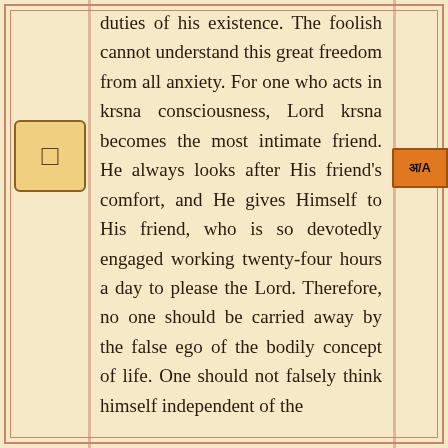duties of his existence. The foolish cannot understand this great freedom from all anxiety. For one who acts in krsna consciousness, Lord krsna becomes the most intimate friend. He always looks after His friend's comfort, and He gives Himself to His friend, who is so devotedly engaged working twenty-four hours a day to please the Lord. Therefore, no one should be carried away by the false ego of the bodily concept of life. One should not falsely think himself independent of the